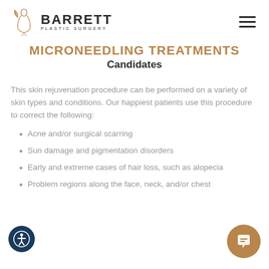Barrett Plastic Surgery — navigation header with logo and hamburger menu
MICRONEEDLING TREATMENTS
Candidates
This skin rejuvenation procedure can be performed on a variety of skin types and conditions. Our happiest patients use this procedure to correct the following:
Acne and/or surgical scarring
Sun damage and pigmentation disorders
Early and extreme cases of hair loss, such as alopecia
Problem regions along the face, neck, and/or chest